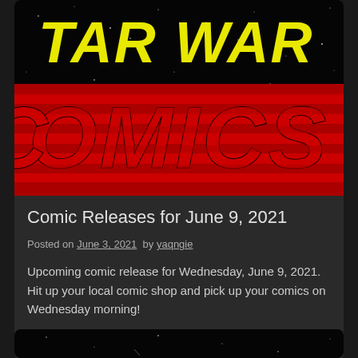[Figure (illustration): Star Wars Comics logo on black starfield background — yellow bold italic 'TAR WAR' text at top, large red striped 'COMICS' text below, all on black space background with white stars]
Comic Releases for June 9, 2021
Posted on June 3, 2021  by yaqngie
Upcoming comic release for Wednesday, June 9, 2021. Hit up your local comic shop and pick up your comics on Wednesday morning!
Read More
[Figure (illustration): Partial Star Wars Comics logo on black starfield background — bottom portion of banner visible at bottom of page]